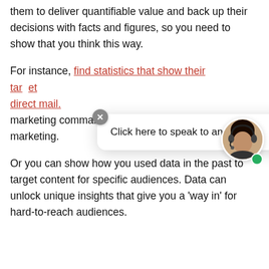them to deliver quantifiable value and back up their decisions with facts and figures, so you need to show that you think this way.
For instance, find statistics that show their target … direct mail. marketing commands more attention than digital marketing.
[Figure (infographic): Chat widget popup with close button (X), text 'Click here to speak to an expert', and a circular avatar photo of a woman with a headset, with a green online indicator dot.]
Or you can show how you used data in the past to target content for specific audiences. Data can unlock unique insights that give you a 'way in' for hard-to-reach audiences.